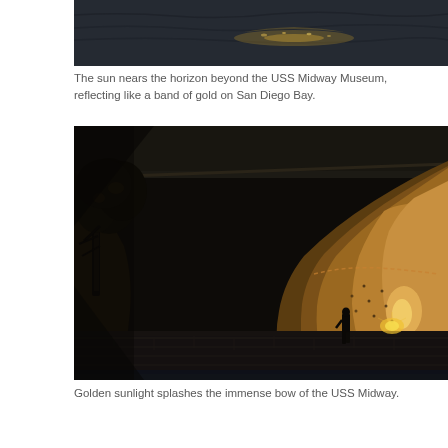[Figure (photo): Top portion of a photograph showing dark water with sunlight reflecting off the surface of San Diego Bay, near the USS Midway Museum at dusk.]
The sun nears the horizon beyond the USS Midway Museum, reflecting like a band of gold on San Diego Bay.
[Figure (photo): A dramatic photograph showing golden sunlight illuminating the massive curved bow of the USS Midway aircraft carrier. A silhouetted figure stands near the base of the ship. A tree is visible on the left side. The scene is captured at sunset with warm golden tones on the ship's hull.]
Golden sunlight splashes the immense bow of the USS Midway.